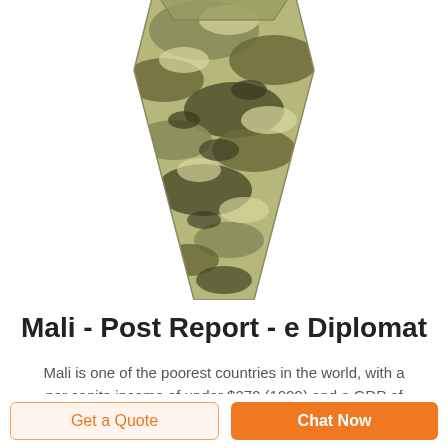[Figure (photo): A camouflage-patterned necktie with green, tan, and dark brown colors, photographed from above at an angle showing the tip and body of the tie.]
Mali - Post Report - e Diplomat
Mali is one of the poorest countries in the world, with a per capita income of under $270 (1999) and a GDP of approximately $2.6 billion. An estimated 85% of the labor
Get a Quote
Chat Now